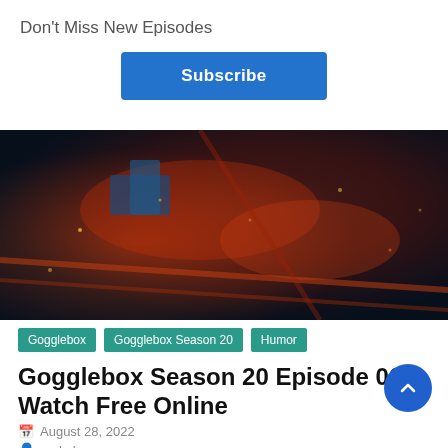Don't Miss New Episodes
×
Subscribe
[Figure (photo): Aerial night view of a city with glowing red and blue lights, roads and buildings visible from above]
Gogglebox | Gogglebox Season 20 | Humor
Gogglebox Season 20 Episode 06 Watch Free Online
August 28, 2022
rushshows
Gogglebox Season 20 Episode 06 Description Gogglebox Seasons Celebrity Gogglebox Season 04 Gogglebox Australia Season 15 Gogglebox Australia Season 16 Gogglebox Season